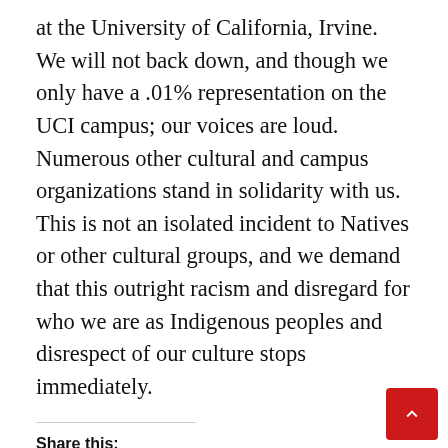at the University of California, Irvine. We will not back down, and though we only have a .01% representation on the UCI campus; our voices are loud. Numerous other cultural and campus organizations stand in solidarity with us. This is not an isolated incident to Natives or other cultural groups, and we demand that this outright racism and disregard for who we are as Indigenous peoples and disrespect of our culture stops immediately.
Share this: